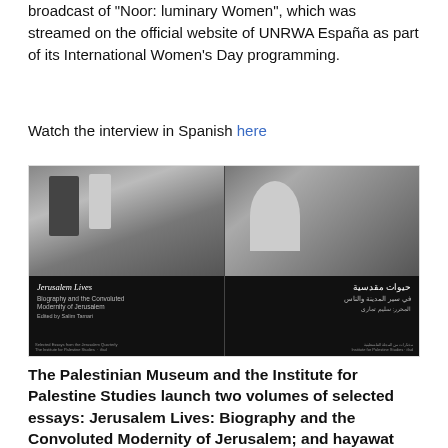broadcast of "Noor: luminary Women", which was streamed on the official website of UNRWA España as part of its International Women's Day programming.
Watch the interview in Spanish here
[Figure (photo): Two book covers side by side: left cover shows a vintage black-and-white photograph of three people (man with fez, young girl, boy with fez) with the title 'Jerusalem Lives: Biography and the Convoluted Modernity of Jerusalem, Edited by Salim Tamari, Selected Essays from the Jerusalem Quarterly, Institute for Palestine Studies / ifad'; right cover shows a black-and-white photograph of a man in a white shirt with others in background, with Arabic text 'حيوات مقدسية في سير المدينة والناس, المحرر: سليم تماري, مختارات من المجلة الفلسطينية, Institute for Palestine Studies / ifad']
The Palestinian Museum and the Institute for Palestine Studies launch two volumes of selected essays: Jerusalem Lives: Biography and the Convoluted Modernity of Jerusalem; and hayawat maqdisiya fi seyar al-madina wa an-nas (Jerusalem Lives in Stories of the